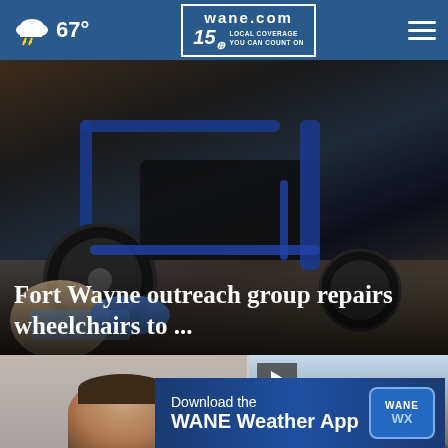67° wane.com 15 LOCAL COVERAGE YOU CAN COUNT ON
[Figure (photo): Close-up photo of a person cleaning or repairing a blue and black power wheelchair, wiping the frame with a blue cloth. The wheelchair has large rubber tires and complex mechanical components visible.]
Fort Wayne outreach group repairs wheelchairs to ...
[Figure (photo): Thumbnail photo of a young man from the shoulders up, gray background.]
[Figure (photo): Thumbnail photo with play button icon showing a sky and mountain/rooftop scene.]
Download the WANE Weather App